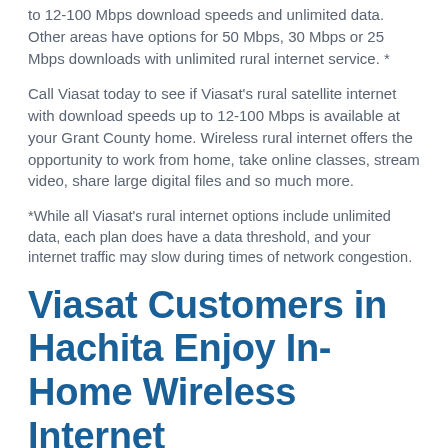to 12-100 Mbps download speeds and unlimited data. Other areas have options for 50 Mbps, 30 Mbps or 25 Mbps downloads with unlimited rural internet service. *
Call Viasat today to see if Viasat's rural satellite internet with download speeds up to 12-100 Mbps is available at your Grant County home. Wireless rural internet offers the opportunity to work from home, take online classes, stream video, share large digital files and so much more.
*While all Viasat's rural internet options include unlimited data, each plan does have a data threshold, and your internet traffic may slow during times of network congestion.
Viasat Customers in Hachita Enjoy In-Home Wireless Internet